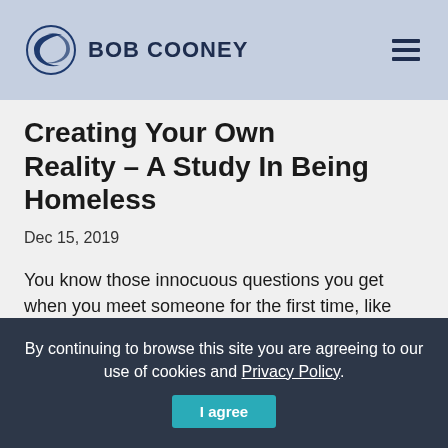BOB COONEY
Creating Your Own Reality – A Study In Being Homeless
Dec 15, 2019
You know those innocuous questions you get when you meet someone for the first time, like “What do you do for
By continuing to browse this site you are agreeing to our use of cookies and Privacy Policy.